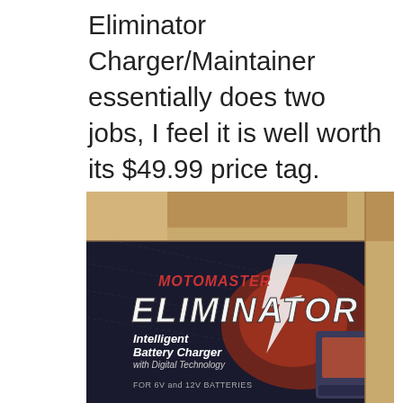Eliminator Charger/Maintainer essentially does two jobs, I feel it is well worth its $49.99 price tag. NOTE: Alternators in cars or trucks only maintain your battery and will not fully charge it up. If you do happen to run your battery down, a good charge with a Battery Charger will top it вЂ¦.
[Figure (photo): MotoMaster Eliminator Intelligent Battery Charger with Digital Technology for 6V and 12V batteries, shown in open cardboard box]